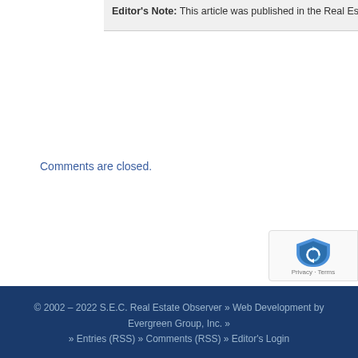Editor's Note: This article was published in the Real Estate Observer i…
Comments are closed.
[Figure (logo): reCAPTCHA badge with blue shield icon and 'Privacy - Terms' text]
© 2002 – 2022 S.E.C. Real Estate Observer » Web Development by Evergreen Group, Inc. » » Entries (RSS) » Comments (RSS) » Editor's Login